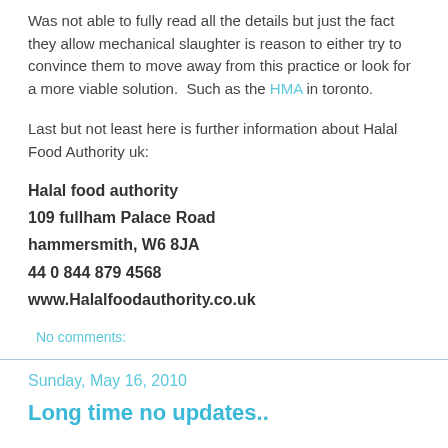Was not able to fully read all the details but just the fact they allow mechanical slaughter is reason to either try to convince them to move away from this practice or look for a more viable solution.  Such as the HMA in toronto.
Last but not least here is further information about Halal Food Authority uk:
Halal food authority
109 fullham Palace Road
hammersmith, W6 8JA
44 0 844 879 4568
www.Halalfoodauthority.co.uk
No comments:
Sunday, May 16, 2010
Long time no updates..